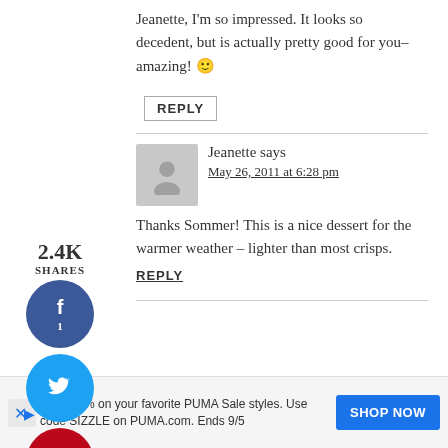Jeanette, I'm so impressed. It looks so decedent, but is actually pretty good for you–amazing! 🙂
REPLY
2.4K SHARES
Jeanette says
May 26, 2011 at 6:28 pm
Thanks Sommer! This is a nice dessert for the warmer weather – lighter than most crisps.
REPLY
Save 30% on your favorite PUMA Sale styles. Use code SIZZLE on PUMA.com. Ends 9/5
SHOP NOW